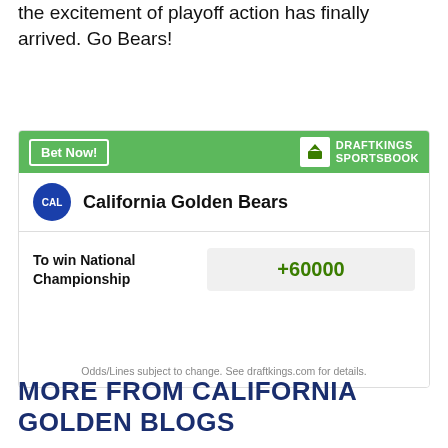the excitement of playoff action has finally arrived. Go Bears!
[Figure (infographic): DraftKings Sportsbook widget showing California Golden Bears with odds to win National Championship at +60000. Green header with 'Bet Now!' button and DraftKings Sportsbook logo. Team row with CAL circle logo and team name. Body shows betting line label and odds value box.]
MORE FROM CALIFORNIA GOLDEN BLOGS